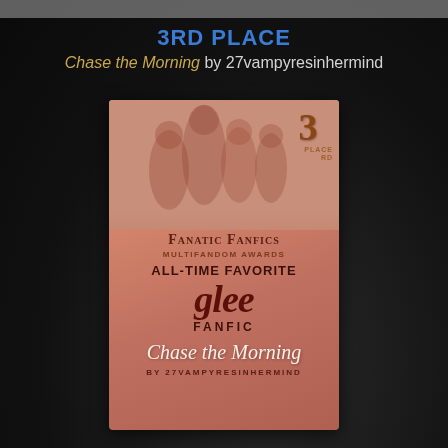3RD PLACE
Chase the Morning by 27vampyresinhermind
[Figure (illustration): Award certificate card with salmon/rose gold background showing cast figures at top, '3rd Place' badge, 'Fanatic Fanfics Multifandom Awards All-Time Favorite Glee Fanfic' text, and 'Chase the Morning by 27VampyresInHerMind' title in script font]